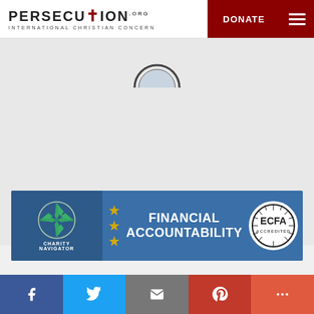PERSECUTION.org — INTERNATIONAL CHRISTIAN CONCERN | DONATE
[Figure (logo): Persecution.org — International Christian Concern logo with cross, and DONATE button with hamburger menu on dark red background]
[Figure (infographic): Financial Accountability banner with Charity Navigator 3-star badge and ECFA Accredited seal on blue background]
[Figure (infographic): Social media share bar with Facebook, Twitter, Email, Pinterest, and More buttons]